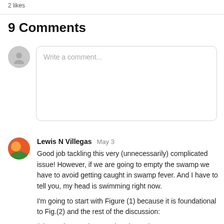2 likes
9 Comments
[Figure (screenshot): Comment input box with placeholder text 'Write a comment...' and a grey anonymous avatar on the left]
Lewis N Villegas   May 3
Good job tackling this very (unnecessarily) complicated issue! However, if we are going to empty the swamp we have to avoid getting caught in swamp fever. And I have to tell you, my head is swimming right now.

I'm going to start with Figure (1) because it is foundational to Fig.(2) and the rest of the discussion:

(a) How is 'Housing Need' estimated?